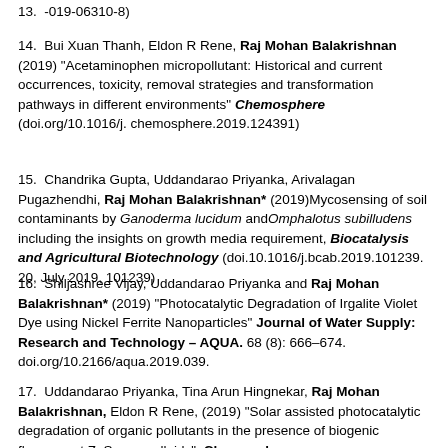13.  -019-06310-8)
14.  Bui Xuan Thanh, Eldon R Rene, Raj Mohan Balakrishnan (2019) "Acetaminophen micropollutant: Historical and current occurrences, toxicity, removal strategies and transformation pathways in different environments" Chemosphere (doi.org/10.1016/j.chemosphere.2019.124391)
15.  Chandrika Gupta, Uddandarao Priyanka, Arivalagan Pugazhendhi, Raj Mohan Balakrishnan* (2019)Mycosensing of soil contaminants by Ganoderma lucidum andOmphalotus subilludens including the insights on growth media requirement, Biocatalysis and Agricultural Biotechnology (doi.10.1016/j.bcab.2019.101239. 20, July 2019, 101239)
16.  Shiljashree Vijay, Uddandarao Priyanka and Raj Mohan Balakrishnan* (2019) "Photocatalytic Degradation of Irgalite Violet Dye using Nickel Ferrite Nanoparticles" Journal of Water Supply: Research and Technology – AQUA. 68 (8): 666–674. doi.org/10.2166/aqua.2019.039.
17.  Uddandarao Priyanka, Tina Arun Hingnekar, Raj Mohan Balakrishnan, Eldon R Rene, (2019) "Solar assisted photocatalytic degradation of organic pollutants in the presence of biogenic fluorescent ZnS nanocolloids". Chemosphere